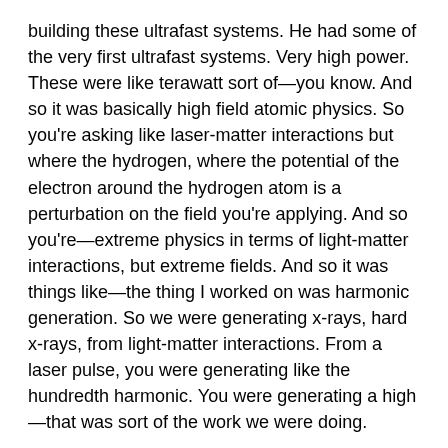building these ultrafast systems. He had some of the very first ultrafast systems. Very high power. These were like terawatt sort of—you know. And so it was basically high field atomic physics. So you're asking like laser-matter interactions but where the hydrogen, where the potential of the electron around the hydrogen atom is a perturbation on the field you're applying. And so you're—extreme physics in terms of light-matter interactions, but extreme fields. And so it was things like—the thing I worked on was harmonic generation. So we were generating x-rays, hard x-rays, from light-matter interactions. From a laser pulse, you were generating like the hundredth harmonic. You were generating a high—that was sort of the work we were doing.
ZIERLER: Which had immediate practical value, or this was more theoretical value and then you'll see where it leads?
NEUMAN: There was a notion that there was practical value to generate coherent x-rays, for example. And this